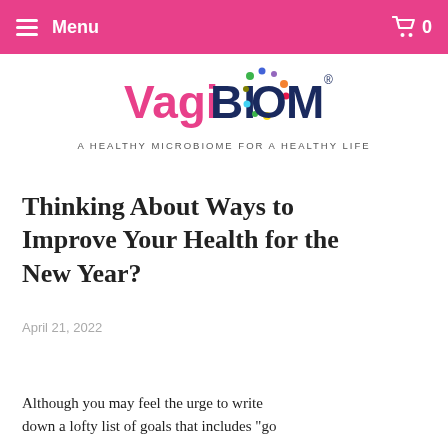Menu  0
[Figure (logo): VagiBIOM logo with colorful dots forming a flower/microbiome circle around the letter O, with registered trademark symbol. Tagline: A HEALTHY MICROBIOME FOR A HEALTHY LIFE]
Thinking About Ways to Improve Your Health for the New Year?
April 21, 2022
Although you may feel the urge to write down a lofty list of goals that includes "go